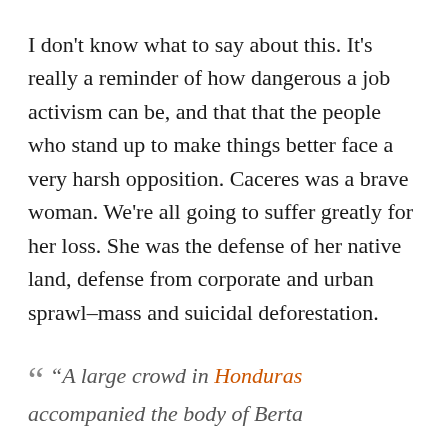I don't know what to say about this. It's really a reminder of how dangerous a job activism can be, and that that the people who stand up to make things better face a very harsh opposition. Caceres was a brave woman. We're all going to suffer greatly for her loss. She was the defense of her native land, defense from corporate and urban sprawl–mass and suicidal deforestation.
“A large crowd in Honduras accompanied the body of Berta